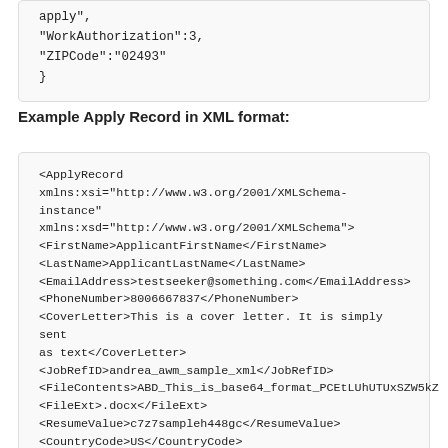apply",
"WorkAuthorization":3,
"ZIPCode":"02493"
}
Example Apply Record in XML format:
<ApplyRecord xmlns:xsi="http://www.w3.org/2001/XMLSchema-instance" xmlns:xsd="http://www.w3.org/2001/XMLSchema"><FirstName>ApplicantFirstName</FirstName><LastName>ApplicantLastName</LastName><EmailAddress>testseeker@something.com</EmailAddress><PhoneNumber>8006667837</PhoneNumber><CoverLetter>This is a cover letter. It is simply sent as text</CoverLetter><JobRefID>andrea_awm_sample_xml</JobRefID><FileContents>ABD_This_is_base64_format_PCEtLUhUTUxSZW5kZX<FileExt>.docx</FileExt><ResumeValue>c7z7sampleh448gc</ResumeValue><CountryCode>US</CountryCode>